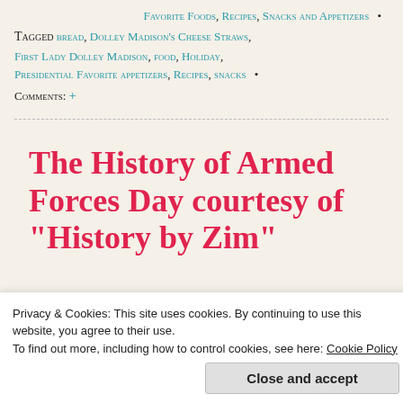Favorite Foods, Recipes, Snacks and Appetizers •
Tagged bread, Dolley Madison's Cheese Straws, First Lady Dolley Madison, food, Holiday, Presidential Favorite appetizers, Recipes, snacks • Comments: +
The History of Armed Forces Day courtesy of "History by Zim"
Privacy & Cookies: This site uses cookies. By continuing to use this website, you agree to their use. To find out more, including how to control cookies, see here: Cookie Policy
Close and accept